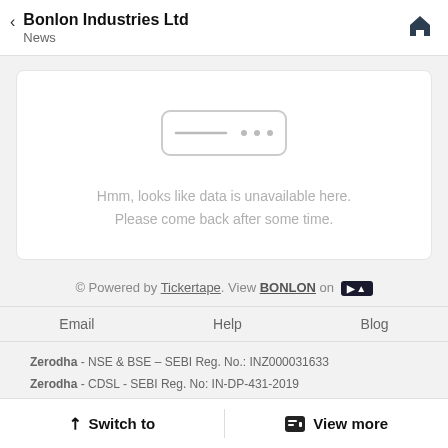Bonlon Industries Ltd
News
[Figure (other): Empty state illustration: a rounded rectangle with a horizontal line and three dots inside, indicating no data available.]
Hmm, looks like data is unavailable here. Please come back after some time.
© Powered by Tickertape. View BONLON on [Tickertape logo badge]
Email   Help   Blog
Zerodha - NSE & BSE – SEBI Reg. No.: INZ000031633
Zerodha - CDSL - SEBI Reg. No: IN-DP-431-2019
Switch to   View more